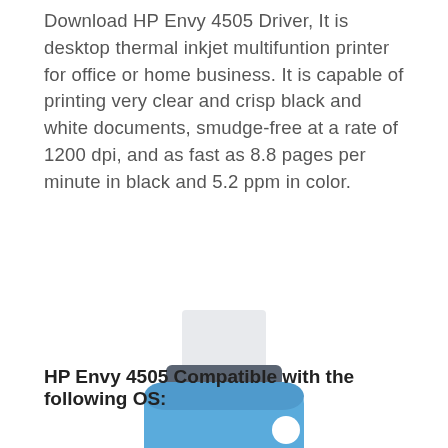Download HP Envy 4505 Driver, It is desktop thermal inkjet multifuntion printer for office or home business. It is capable of printing very clear and crisp black and white documents, smudge-free at a rate of 1200 dpi, and as fast as 8.8 pages per minute in black and 5.2 ppm in color.
[Figure (illustration): Flat style illustration of a blue desktop inkjet printer with paper tray at top and output tray at bottom showing printed pages]
HP Envy 4505 Compatible with the following OS: